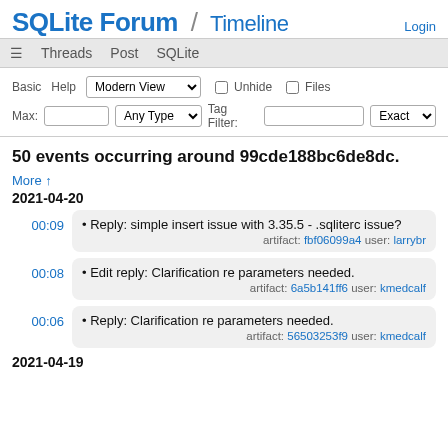SQLite Forum / Timeline — Login
≡  Threads  Post  SQLite
Basic  Help  Modern View  Unhide  Files  Max:  Any Type  Tag Filter:  Exact
50 events occurring around 99cde188bc6de8dc.
More ↑
2021-04-20
00:09 • Reply: simple insert issue with 3.35.5 - .sqliterc issue? artifact: fbf06099a4 user: larrybr
00:08 • Edit reply: Clarification re parameters needed. artifact: 6a5b141ff6 user: kmedcalf
00:06 • Reply: Clarification re parameters needed. artifact: 56503253f9 user: kmedcalf
2021-04-19